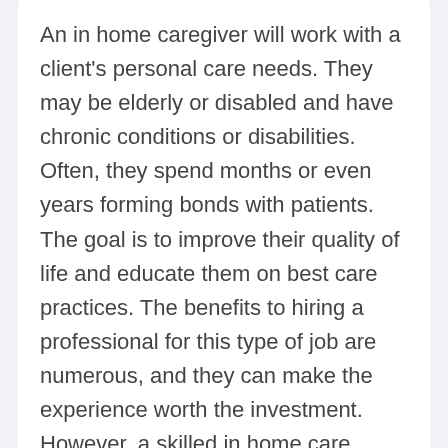An in home caregiver will work with a client's personal care needs. They may be elderly or disabled and have chronic conditions or disabilities. Often, they spend months or even years forming bonds with patients. The goal is to improve their quality of life and educate them on best care practices. The benefits to hiring a professional for this type of job are numerous, and they can make the experience worth the investment. However, a skilled in home care worker will be more expensive than a family member or friend.
read more
[Figure (photo): Two partially visible photo thumbnails at the bottom of the page: one on the left and one on the right, both cropped and partially out of frame.]